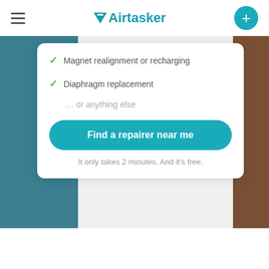[Figure (logo): Airtasker logo with hamburger menu and plus button in teal navigation bar]
[Figure (screenshot): Background image strip with teal/blue on left and brown/tan on right]
Magnet realignment or recharging
Diaphragm replacement
... or anything else
Find a repairer near me
It only takes 2 minutes. And it's free.